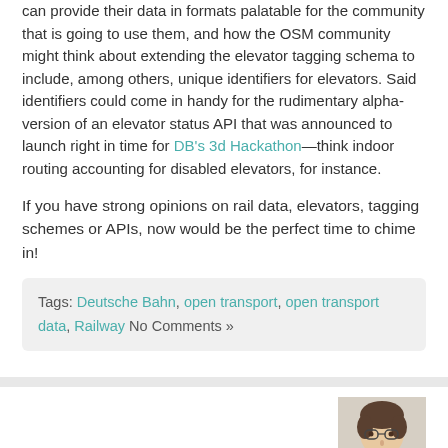can provide their data in formats palatable for the community that is going to use them, and how the OSM community might think about extending the elevator tagging schema to include, among others, unique identifiers for elevators. Said identifiers could come in handy for the rudimentary alpha-version of an elevator status API that was announced to launch right in time for DB's 3d Hackathon—think indoor routing accounting for disabled elevators, for instance.
If you have strong opinions on rail data, elevators, tagging schemes or APIs, now would be the perfect time to chime in!
Tags: Deutsche Bahn, open transport, open transport data, Railway No Comments »
[Figure (photo): Author photo of Pieter Colpaert, a person with dark hair and glasses, shown from shoulders up against a light background.]
Pieter Colpaert - October 23, 2014 in featured, News
How far do you live from work?